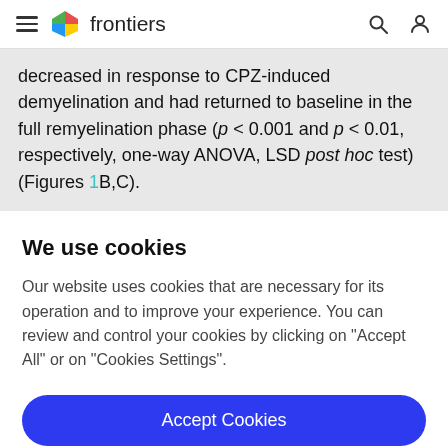frontiers
decreased in response to CPZ-induced demyelination and had returned to baseline in the full remyelination phase (p < 0.001 and p < 0.01, respectively, one-way ANOVA, LSD post hoc test) (Figures 1B,C).
We use cookies
Our website uses cookies that are necessary for its operation and to improve your experience. You can review and control your cookies by clicking on "Accept All" or on "Cookies Settings".
Accept Cookies
Cookies Settings